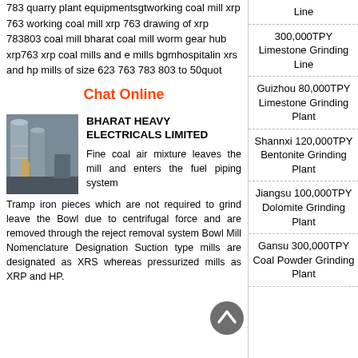783 quarry plant equipmentsgtworking coal mill xrp 763 working coal mill xrp 763 drawing of xrp 783803 coal mill bharat coal mill worm gear hub xrp763 xrp coal mills and e mills bgmhospitalin xrs and hp mills of size 623 763 783 803 to 50quot
Chat Online
[Figure (photo): Industrial grinding/coal mill equipment photo]
BHARAT HEAVY ELECTRICALS LIMITED
Fine coal air mixture leaves the mill and enters the fuel piping system Tramp iron pieces which are not required to grind leave the Bowl due to centrifugal force and are removed through the reject removal system Bowl Mill Nomenclature Designation Suction type mills are designated as XRS whereas pressurized mills as XRP and HP.
Line
300,000TPY Limestone Grinding Line
Guizhou 80,000TPY Limestone Grinding Plant
Shannxi 120,000TPY Bentonite Grinding Plant
Jiangsu 100,000TPY Dolomite Grinding Plant
Gansu 300,000TPY Coal Powder Grinding Plant